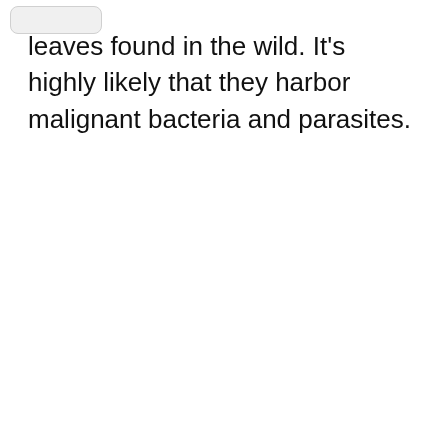leaves found in the wild. It's highly likely that they harbor malignant bacteria and parasites.